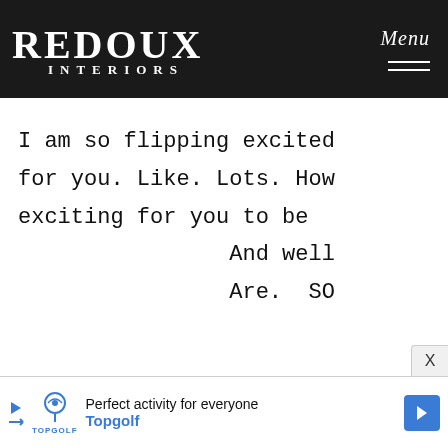Redoux Interiors — Menu
I am so flipping excited for you. Like. Lots. How exciting for you to be And well Are. SO
[Figure (screenshot): Advertisement banner for Topgolf: 'Perfect activity for everyone — Topgolf']